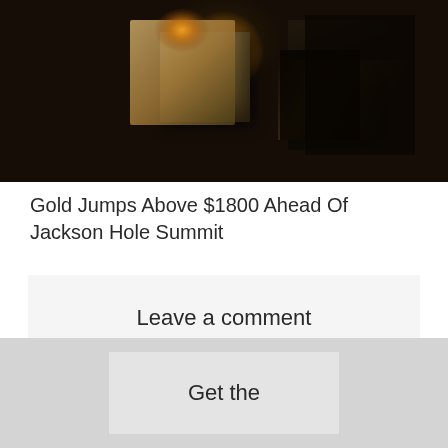[Figure (photo): Dark industrial photo showing a glowing gold/amber light inside or on top of a cube-shaped metal block, with dark metalwork surroundings suggesting a forge or metalworking environment]
Gold Jumps Above $1800 Ahead Of Jackson Hole Summit
Leave a comment
Get the